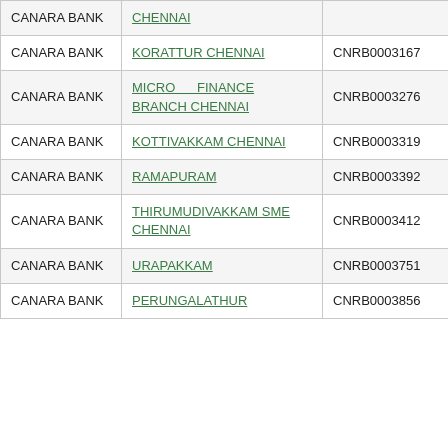| CANARA BANK | BANK CHENNAI |  |  |
| CANARA BANK | KORATTUR CHENNAI | CNRB0003167 | 600015119 |
| CANARA BANK | MICRO FINANCE BRANCH CHENNAI | CNRB0003276 | 600015114 |
| CANARA BANK | KOTTIVAKKAM CHENNAI | CNRB0003319 | 600015118 |
| CANARA BANK | RAMAPURAM | CNRB0003392 | 600015121 |
| CANARA BANK | THIRUMUDIVAKKAM SME CHENNAI | CNRB0003412 | 600015123 |
| CANARA BANK | URAPAKKAM | CNRB0003751 | NA |
| CANARA BANK | PERUNGALATHUR | CNRB0003856 | NA |